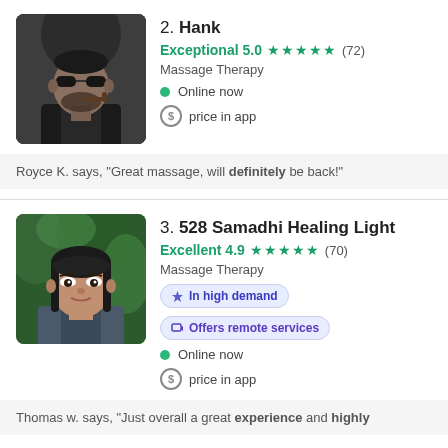2. Hank
Exceptional 5.0 ★★★★★ (72)
Massage Therapy
Online now
price in app
Royce K. says, "Great massage, will definitely be back!"
3. 528 Samadhi Healing Light
Excellent 4.9 ★★★★★ (70)
Massage Therapy
In high demand  Offers remote services
Online now
price in app
Thomas w. says, "Just overall a great experience and highly